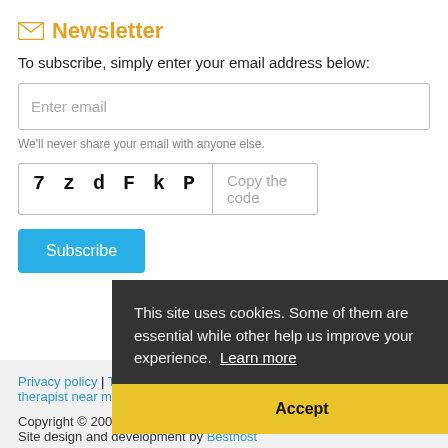Newsletter
To subscribe, simply enter your email address below:
Enter email
We'll never share your email with anyone else.
7 z d F k P  Copy the code
Subscribe
This site uses cookies. Some of them are essential while other help us improve your experience. Learn more
Privacy policy | Terms & conditions | Disclaimer | Find a complementary therapist near me
Accept
Copyright © 2000 - 2022 CHIS-UK. All rights reserved. Site design and development by Besthost